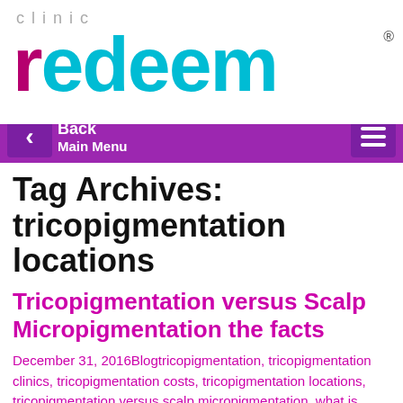[Figure (logo): Clinic Redeem logo with 'clinic' in grey above and 'redeem' in large text with 'r' in magenta/purple and 'edeem' in teal/cyan, with registered trademark symbol]
[Figure (screenshot): Purple navigation bar with back arrow button on left showing 'Back Main Menu' text and hamburger menu icon on right]
Tag Archives: tricopigmentation locations
Tricopigmentation versus Scalp Micropigmentation the facts
December 31, 2016Blogtricopigmentation, tricopigmentation clinics, tricopigmentation costs, tricopigmentation locations, tricopigmentation versus scalp micropigmentation, what is tricopigmentationRedeem Clinic
Tricopigmentation* versus Scalp Micopigmentation the